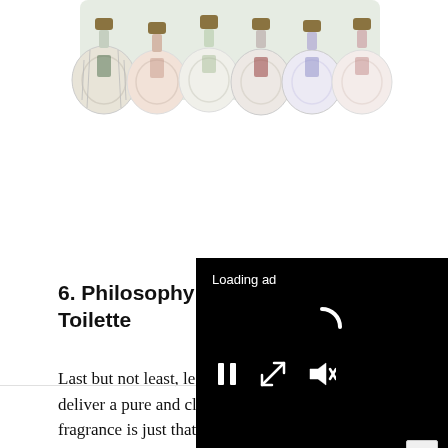[Figure (photo): Row of Philosophy perfume bottles with gold caps and round ribbed glass bodies in various pastel colors, displayed against a light sage green background.]
6. Philosophy “G… Toilette
Last but not least, lea… deliver a pure and cle… fragrance is just that: it smells simply of soap and
[Figure (screenshot): Black video ad overlay showing 'Loading ad' text, a spinning loading indicator, and playback controls (pause, fullscreen, mute buttons).]